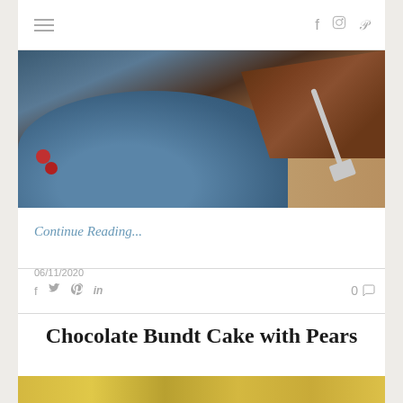Navigation bar with hamburger menu and social icons (f, instagram, p)
[Figure (photo): Photo of a chocolate cake slice on a blue plate with red berries and a spatula on a wooden surface]
Continue Reading...
06/11/2020
Social share icons: f, twitter, pinterest, linkedin — and comment count: 0
Chocolate Bundt Cake with Pears
[Figure (photo): Bottom portion of a food photo, yellow/golden tones visible]